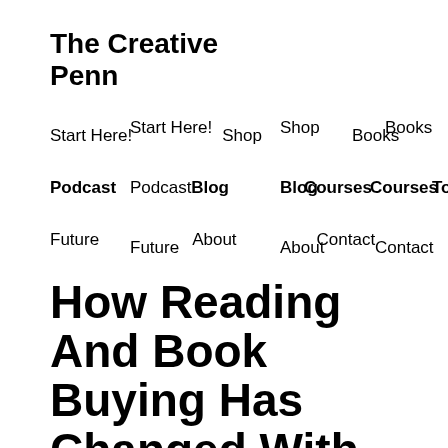The Creative Penn
Start Here!
Shop
Books
Podcast
Blog
Courses
Tools
Future
About
Contact
How Reading And Book Buying Has Changed With The Kindle